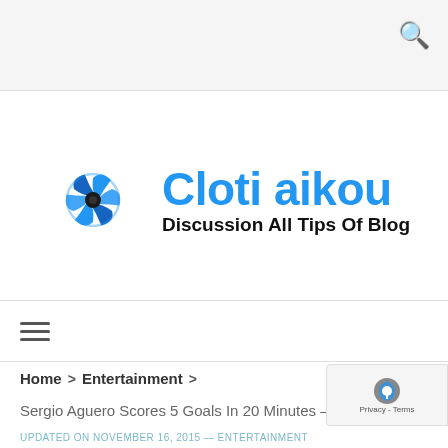[Figure (logo): Cloti aikou logo with blue gear/spinner icon and text 'Cloti aikou - Discussion All Tips Of Blog']
≡ (hamburger menu icon)
Home > Entertainment >
Sergio Aguero Scores 5 Goals In 20 Minutes – Fulfills Fans Fantasy
UPDATED ON NOVEMBER 16, 2015 — ENTERTAINMENT